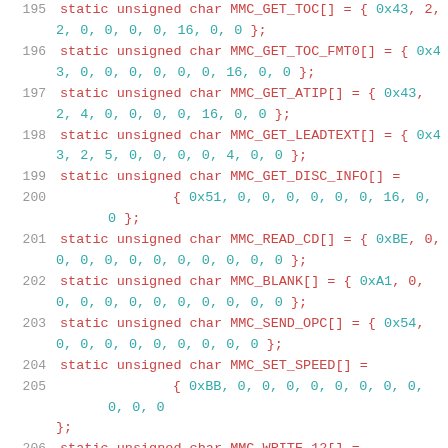195   static unsigned char MMC_GET_TOC[] = { 0x43, 2, 2, 0, 0, 0, 0, 16, 0, 0 };
196   static unsigned char MMC_GET_TOC_FMT0[] = { 0x43, 0, 0, 0, 0, 0, 0, 16, 0, 0 };
197   static unsigned char MMC_GET_ATIP[] = { 0x43, 2, 4, 0, 0, 0, 0, 16, 0, 0 };
198   static unsigned char MMC_GET_LEADTEXT[] = { 0x43, 2, 5, 0, 0, 0, 0, 4, 0, 0 };
199   static unsigned char MMC_GET_DISC_INFO[] =
200         { 0x51, 0, 0, 0, 0, 0, 0, 16, 0, 0 };
201   static unsigned char MMC_READ_CD[] = { 0xBE, 0, 0, 0, 0, 0, 0, 0, 0, 0, 0, 0 };
202   static unsigned char MMC_BLANK[] = { 0xA1, 0, 0, 0, 0, 0, 0, 0, 0, 0, 0, 0 };
203   static unsigned char MMC_SEND_OPC[] = { 0x54, 0, 0, 0, 0, 0, 0, 0, 0, 0 };
204   static unsigned char MMC_SET_SPEED[] =
205         { 0xBB, 0, 0, 0, 0, 0, 0, 0, 0, 0, 0, 0
};
206   static unsigned char MMC_WRITE_12[] =
207         { 0xAA, 0, 0, 0, 0, 0, 0, 0, 0, 0, 0, 0
};
208   static unsigned char MMC_WRITE_10[] = { 0x2A,